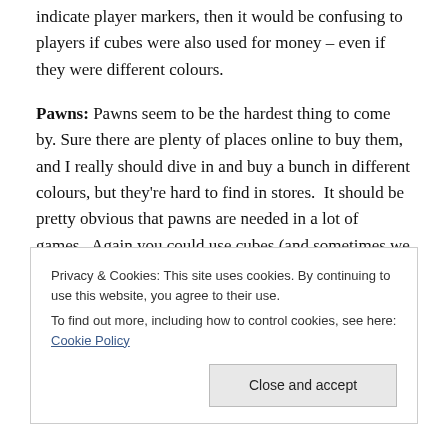indicate player markers, then it would be confusing to players if cubes were also used for money – even if they were different colours.
Pawns: Pawns seem to be the hardest thing to come by. Sure there are plenty of places online to buy them, and I really should dive in and buy a bunch in different colours, but they're hard to find in stores.  It should be pretty obvious that pawns are needed in a lot of games.  Again you could use cubes (and sometimes we do), but if cubes are already representing something else, then pawns are needed.
Privacy & Cookies: This site uses cookies. By continuing to use this website, you agree to their use.
To find out more, including how to control cookies, see here: Cookie Policy